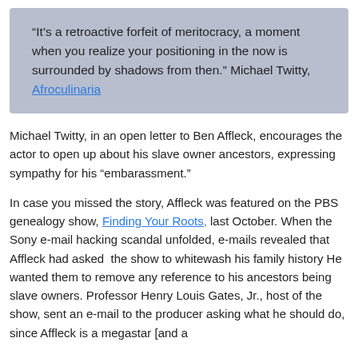“It’s a retroactive forfeit of meritocracy, a moment when you realize your positioning in the now is surrounded by shadows from then.” Michael Twitty, Afroculinaria
Michael Twitty, in an open letter to Ben Affleck, encourages the actor to open up about his slave owner ancestors, expressing sympathy for his “embarassment.”
In case you missed the story, Affleck was featured on the PBS genealogy show, Finding Your Roots, last October. When the Sony e-mail hacking scandal unfolded, e-mails revealed that Affleck had asked the show to whitewash his family history He wanted them to remove any reference to his ancestors being slave owners. Professor Henry Louis Gates, Jr., host of the show, sent an e-mail to the producer asking what he should do, since Affleck is a megastar [and a